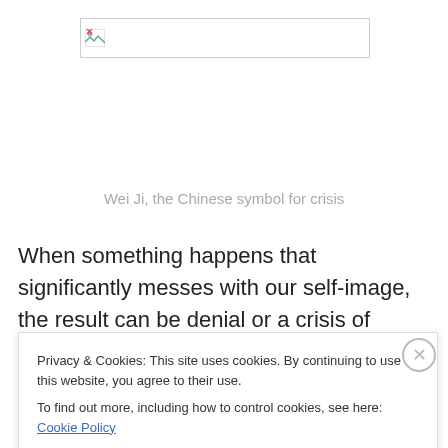[Figure (illustration): Broken image placeholder box with small broken image icon on the left side]
Wei Ji, the Chinese symbol for crisis
When something happens that significantly messes with our self-image, the result can be denial or a crisis of identity. But while such an experience can present a
Privacy & Cookies: This site uses cookies. By continuing to use this website, you agree to their use.
To find out more, including how to control cookies, see here: Cookie Policy
Close and accept